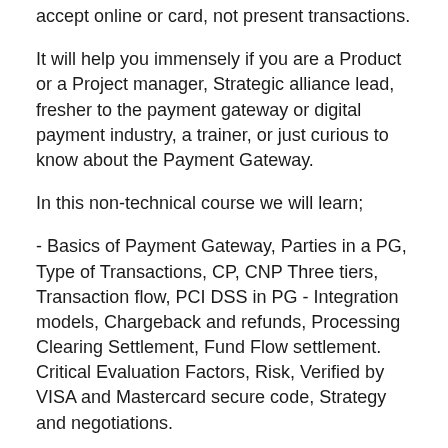accept online or card, not present transactions.
It will help you immensely if you are a Product or a Project manager, Strategic alliance lead, fresher to the payment gateway or digital payment industry, a trainer, or just curious to know about the Payment Gateway.
In this non-technical course we will learn;
- Basics of Payment Gateway, Parties in a PG, Type of Transactions, CP, CNP Three tiers, Transaction flow, PCI DSS in PG - Integration models, Chargeback and refunds, Processing Clearing Settlement, Fund Flow settlement. Critical Evaluation Factors, Risk, Verified by VISA and Mastercard secure code, Strategy and negotiations.
FinTech Digital Banking, Digital Finance, Financial Technology